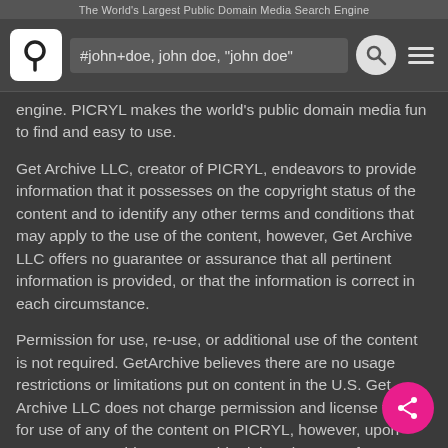The World's Largest Public Domain Media Search Engine
[Figure (screenshot): PICRYL app navigation bar with logo, search field showing '#john+doe, john doe, "john doe"', search icon, and hamburger menu]
engine. PICRYL makes the world's public domain media fun to find and easy to use.
Get Archive LLC, creator of PICRYL, endeavors to provide information that it possesses on the copyright status of the content and to identify any other terms and conditions that may apply to the use of the content, however, Get Archive LLC offers no guarantee or assurance that all pertinent information is provided, or that the information is correct in each circumstance.
Permission for use, re-use, or additional use of the content is not required. GetArchive believes there are no usage restrictions or limitations put on content in the U.S. Get Archive LLC does not charge permission and license fees for use of any of the content on PICRYL, however, upon request, GetArchive can provide rights clearance for content for a fee.
Get Archive LLC is the owner of the compilation of content posted on the PICRYL website and applications, which consists of